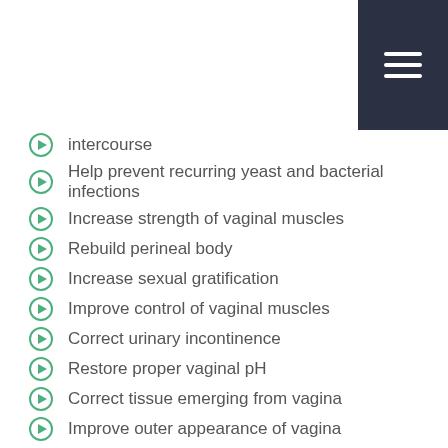navigation menu icon
intercourse
Help prevent recurring yeast and bacterial infections
Increase strength of vaginal muscles
Rebuild perineal body
Increase sexual gratification
Improve control of vaginal muscles
Correct urinary incontinence
Restore proper vaginal pH
Correct tissue emerging from vagina
Improve outer appearance of vagina
What to Expect from Non-Invasive Vaginal Rejuvenation Options
As it is the production to evaluate the health of...